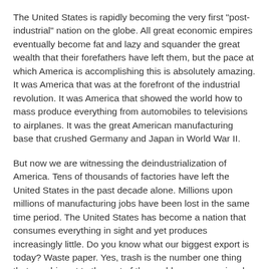The United States is rapidly becoming the very first "post-industrial" nation on the globe. All great economic empires eventually become fat and lazy and squander the great wealth that their forefathers have left them, but the pace at which America is accomplishing this is absolutely amazing. It was America that was at the forefront of the industrial revolution. It was America that showed the world how to mass produce everything from automobiles to televisions to airplanes. It was the great American manufacturing base that crushed Germany and Japan in World War II.
But now we are witnessing the deindustrialization of America. Tens of thousands of factories have left the United States in the past decade alone. Millions upon millions of manufacturing jobs have been lost in the same time period. The United States has become a nation that consumes everything in sight and yet produces increasingly little. Do you know what our biggest export is today? Waste paper. Yes, trash is the number one thing that we ship out to the rest of the world as we voraciously blow our money on whatever the rest of the world wants to sell to us.